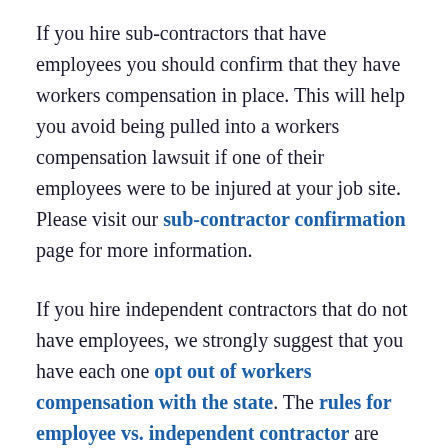If you hire sub-contractors that have employees you should confirm that they have workers compensation in place. This will help you avoid being pulled into a workers compensation lawsuit if one of their employees were to be injured at your job site. Please visit our sub-contractor confirmation page for more information.
If you hire independent contractors that do not have employees, we strongly suggest that you have each one opt out of workers compensation with the state. The rules for employee vs. independent contractor are very clear but mostly misunderstood by business owners. Taking this step will help protect your company from